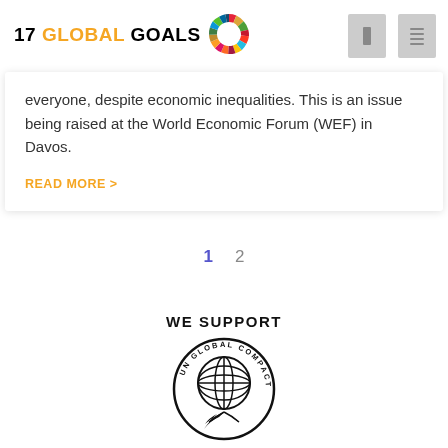17 GLOBAL GOALS
everyone, despite economic inequalities. This is an issue being raised at the World Economic Forum (WEF) in Davos.
READ MORE >
1   2
[Figure (logo): UN Global Compact logo with text WE SUPPORT]
WE SUPPORT